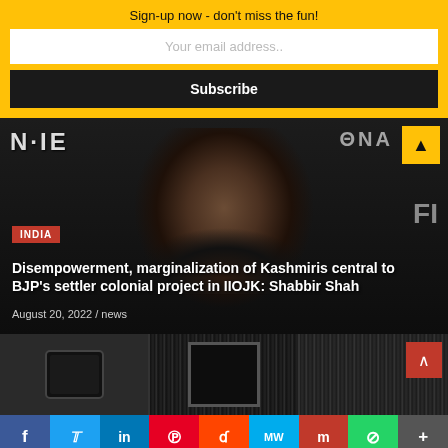Sign-up now - don't miss the fun!
Your email address..
Subscribe
[Figure (photo): News article image showing a bearded man with text overlay: INDIA tag, headline about Disempowerment of Kashmiris, and date. Background shows partial 'INTERNATIONAL' text banner.]
Disempowerment, marginalization of Kashmiris central to BJP's settler colonial project in IIOJK: Shabbir Shah
August 20, 2022 / news
[Figure (photo): Three thumbnail images at bottom: phone/device on left, door frame in center, wooden/metal surface on right]
f  Twitter  in  Pinterest  Reddit  MW  Mix  WhatsApp  More